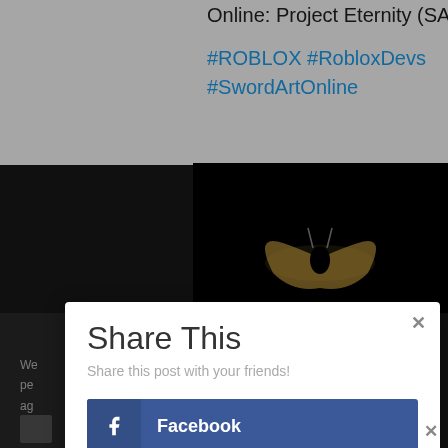Online: Project Eternity (SAO:PEv2) |
#ROBLOX #RobloxDevs #SwordArtOnline
[Figure (screenshot): Dark/black image with a glowing butterfly or winged figure]
Share This
Share this post with your friends!
Facebook
Twitter
Pinterest
Like